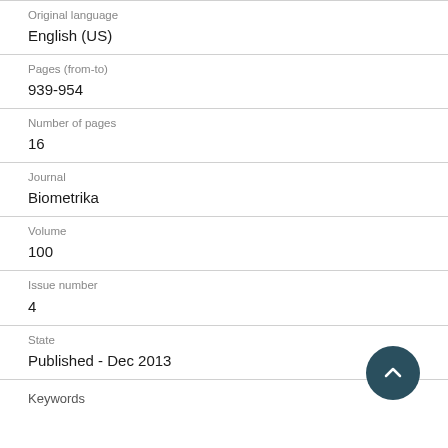Original language
English (US)
Pages (from-to)
939-954
Number of pages
16
Journal
Biometrika
Volume
100
Issue number
4
State
Published - Dec 2013
Keywords